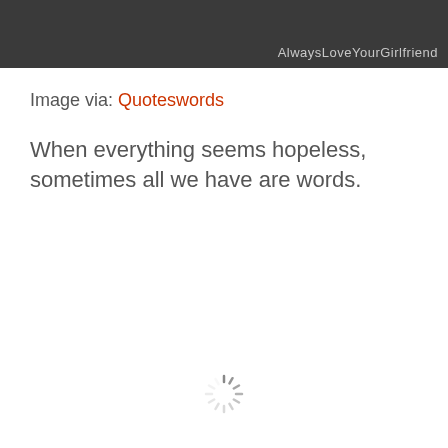[Figure (other): Dark grey header banner with watermark text 'AlwaysLoveYourGirlfriend' in handwritten style at bottom right]
Image via: Quoteswords
When everything seems hopeless, sometimes all we have are words.
[Figure (other): Loading spinner icon at the bottom center of the page]